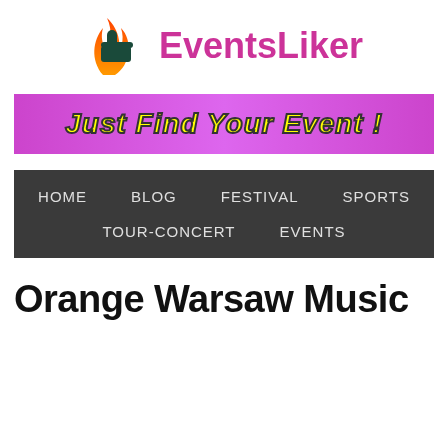[Figure (logo): EventsLiker logo with flame and thumbs-up icon, and pink/magenta brand name text]
[Figure (infographic): Purple/magenta banner with bold yellow italic text reading 'Just Find Your Event !']
[Figure (infographic): Dark gray navigation bar with menu items: HOME, BLOG, FESTIVAL, SPORTS on first row; TOUR-CONCERT, EVENTS on second row]
Orange Warsaw Music